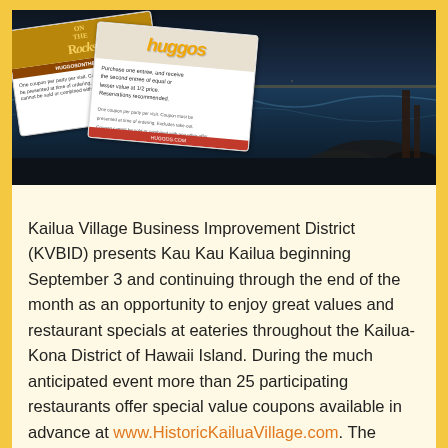[Figure (photo): Nighttime coastal scene with ocean and dark sky in background. In the foreground are two overlapping restaurant coupons: one for 'Huggos on the Rocks' and one for 'Huggos' restaurant, showing promotional dining offers.]
Kailua Village Business Improvement District (KVBID) presents Kau Kau Kailua beginning September 3 and continuing through the end of the month as an opportunity to enjoy great values and restaurant specials at eateries throughout the Kailua-Kona District of Hawaii Island. During the much anticipated event more than 25 participating restaurants offer special value coupons available in advance at www.HistoricKailuaVillage.com. The coupons are valid September 3 through September 30. From discounts to buy-one, get-one to free appetizer or dessert, the value offers are as diverse as the dining